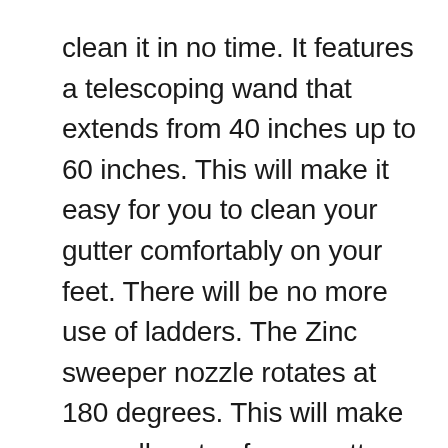clean it in no time. It features a telescoping wand that extends from 40 inches up to 60 inches. This will make it easy for you to clean your gutter comfortably on your feet. There will be no more use of ladders. The Zinc sweeper nozzle rotates at 180 degrees. This will make sure all parts of your gutter are cleaned, even the unreachable ones.
The four position ratcheting head makes clean up such an easy task. The wand is made with lightweight